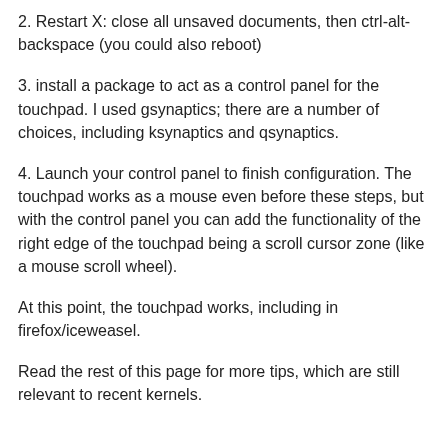2. Restart X: close all unsaved documents, then ctrl-alt-backspace (you could also reboot)
3. install a package to act as a control panel for the touchpad. I used gsynaptics; there are a number of choices, including ksynaptics and qsynaptics.
4. Launch your control panel to finish configuration. The touchpad works as a mouse even before these steps, but with the control panel you can add the functionality of the right edge of the touchpad being a scroll cursor zone (like a mouse scroll wheel).
At this point, the touchpad works, including in firefox/iceweasel.
Read the rest of this page for more tips, which are still relevant to recent kernels.